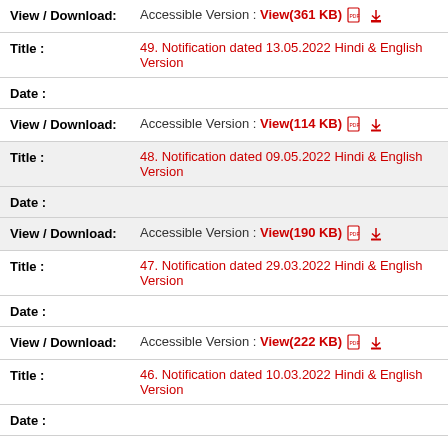View / Download: Accessible Version : View(361 KB)
Title : 49. Notification dated 13.05.2022 Hindi & English Version
Date :
View / Download: Accessible Version : View(114 KB)
Title : 48. Notification dated 09.05.2022 Hindi & English Version
Date :
View / Download: Accessible Version : View(190 KB)
Title : 47. Notification dated 29.03.2022 Hindi & English Version
Date :
View / Download: Accessible Version : View(222 KB)
Title : 46. Notification dated 10.03.2022 Hindi & English Version
Date :